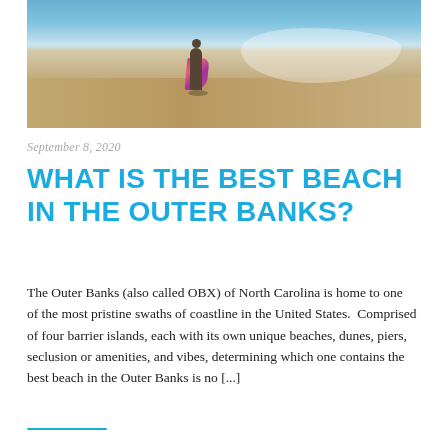[Figure (photo): A person in a colorful floral dress walking barefoot on a sandy beach with ocean waves in the background.]
September 8, 2020
WHAT IS THE BEST BEACH IN THE OUTER BANKS?
The Outer Banks (also called OBX) of North Carolina is home to one of the most pristine swaths of coastline in the United States.  Comprised of four barrier islands, each with its own unique beaches, dunes, piers, seclusion or amenities, and vibes, determining which one contains the best beach in the Outer Banks is no [...]